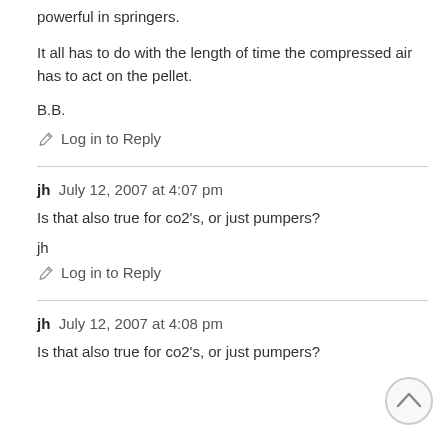powerful in springers.
It all has to do with the length of time the compressed air has to act on the pellet.
B.B.
Log in to Reply
jh  July 12, 2007 at 4:07 pm
Is that also true for co2's, or just pumpers?
jh
Log in to Reply
jh  July 12, 2007 at 4:08 pm
Is that also true for co2's, or just pumpers?